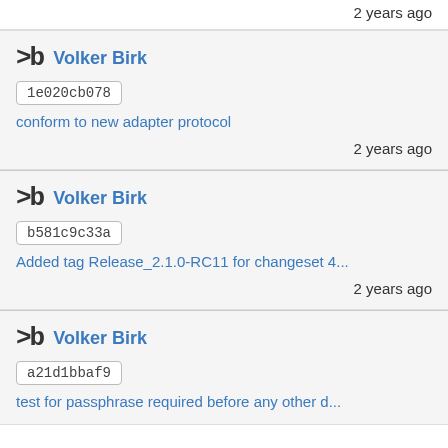2 years ago
Volker Birk
1e020cb078
conform to new adapter protocol
2 years ago
Volker Birk
b581c9c33a
Added tag Release_2.1.0-RC11 for changeset 4...
2 years ago
Volker Birk
a21d1bbaf9
test for passphrase required before any other d...